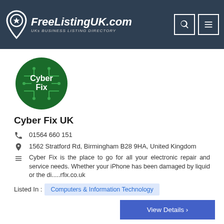FreeListingUK.com — UKs BUSINESS LISTING DIRECTORY
[Figure (logo): Cyber Fix circular logo — dark green circle with circuit board pattern and 'Cyber Fix' text in white]
Cyber Fix UK
01564 660 151
1562 Stratford Rd, Birmingham B28 9HA, United Kingdom
Cyber Fix is the place to go for all your electronic repair and service needs. Whether your iPhone has been damaged by liquid or the di.....rfix.co.uk
Listed In : Computers & Information Technology
View Details ›